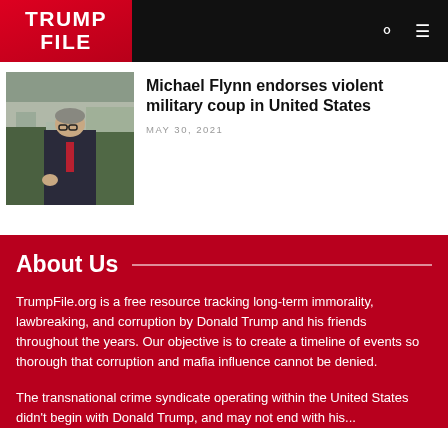TRUMP FILE
[Figure (photo): Man in dark suit walking, appears to be Michael Flynn]
Michael Flynn endorses violent military coup in United States
MAY 30, 2021
About Us
TrumpFile.org is a free resource tracking long-term immorality, lawbreaking, and corruption by Donald Trump and his friends throughout the years. Our objective is to create a timeline of events so thorough that corruption and mafia influence cannot be denied.
The transnational crime syndicate operating within the United States didn't begin with Donald Trump, and may not end with his...